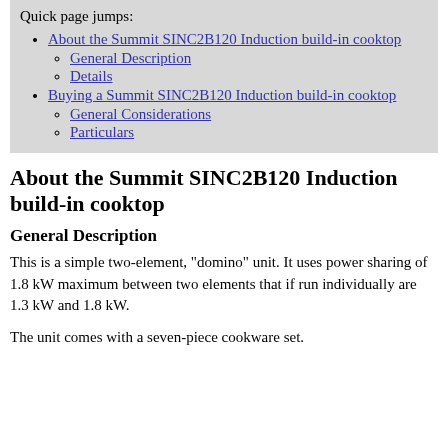Quick page jumps:
About the Summit SINC2B120 Induction build-in cooktop
General Description
Details
Buying a Summit SINC2B120 Induction build-in cooktop
General Considerations
Particulars
About the Summit SINC2B120 Induction build-in cooktop
General Description
This is a simple two-element, "domino" unit. It uses power sharing of 1.8 kW maximum between two elements that if run individually are 1.3 kW and 1.8 kW.
The unit comes with a seven-piece cookware set.